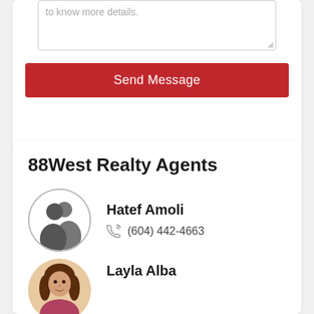to know more details.
Send Message
88West Realty Agents
Hatef Amoli
(604) 442-4663
Layla Alba